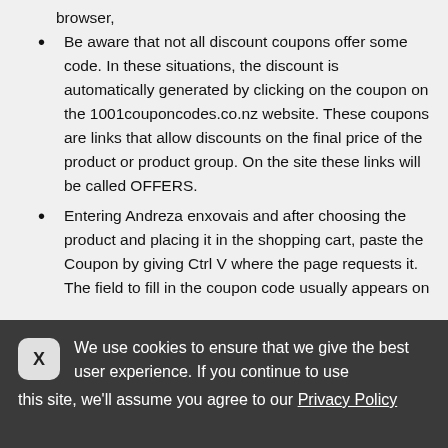browser,
Be aware that not all discount coupons offer some code. In these situations, the discount is automatically generated by clicking on the coupon on the 1001couponcodes.co.nz website. These coupons are links that allow discounts on the final price of the product or product group. On the site these links will be called OFFERS.
Entering Andreza enxovais and after choosing the product and placing it in the shopping cart, paste the Coupon by giving Ctrl V where the page requests it. The field to fill in the coupon code usually appears on
We use cookies to ensure that we give the best user experience. If you continue to use this site, we'll assume you agree to our Privacy Policy